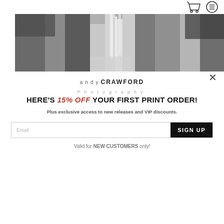andy CRAWFORD Photography
[Figure (photo): Black and white panoramic photograph of a waterfall in a rocky gorge with trees]
andy CRAWFORD Photography
HERE'S 15% OFF YOUR FIRST PRINT ORDER!
Plus exclusive access to new releases and VIP discounts.
Email  SIGN UP
Valid for NEW CUSTOMERS only!